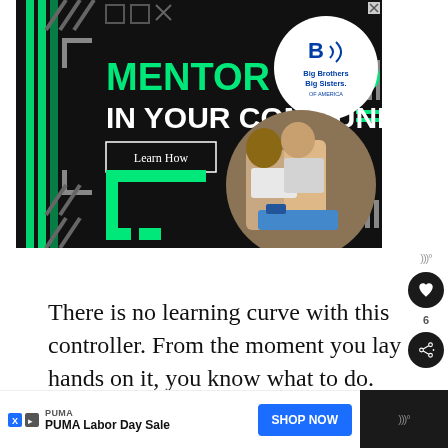[Figure (illustration): Big Brothers Big Sisters of America advertisement banner with black background, green decorative patterns, bold white and green text reading MENTOR A KID IN YOUR COMMUNITY with a Learn How button, BBBS logo circle in top right, and photo of an adult man mentoring a child working on a robotics project.]
There is no learning curve with this controller. From the moment you lay hands on it, you know what to do. The buttons don't click when you press them.
[Figure (illustration): PUMA advertisement banner at bottom with Puma brand name, PUMA Labor Day Sale text, a blue SHOP NOW button, and ad icons on the left. Bottom right corner shows a dark panel with WW logo icon.]